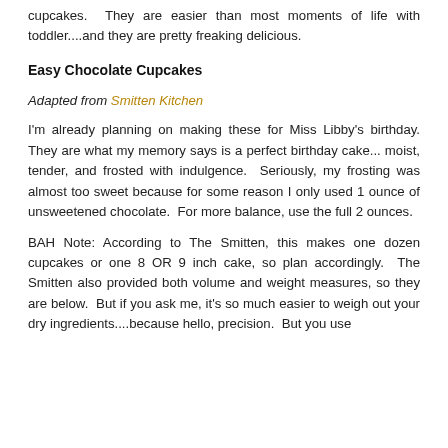cupcakes.  They are easier than most moments of life with toddler....and they are pretty freaking delicious.
Easy Chocolate Cupcakes
Adapted from Smitten Kitchen
I'm already planning on making these for Miss Libby's birthday. They are what my memory says is a perfect birthday cake... moist, tender, and frosted with indulgence.  Seriously, my frosting was almost too sweet because for some reason I only used 1 ounce of unsweetened chocolate.  For more balance, use the full 2 ounces.
BAH Note: According to The Smitten, this makes one dozen cupcakes or one 8 OR 9 inch cake, so plan accordingly.  The Smitten also provided both volume and weight measures, so they are below.  But if you ask me, it's so much easier to weigh out your dry ingredients....because hello, precision.  But you use